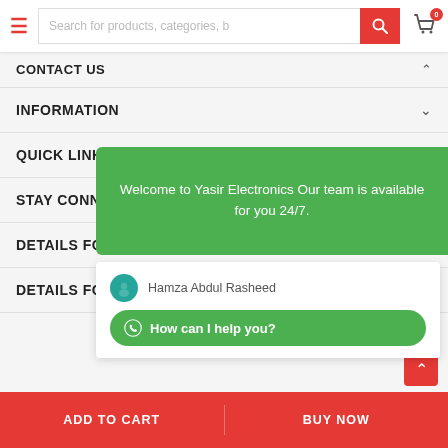Search for products, categories, b
CONTACT US
INFORMATION
QUICK LINKS
STAY CONNECTED
DETAILS FOR HOME APPLIANCES
[Figure (screenshot): Green chat popup overlay saying 'Welcome to Yasir Electronics Our team is available for you 24/7.' with a WhatsApp chat widget below showing Hamza Abdul Rasheed and a 'How can I help you?' button]
Welcome to Yasir Electronics Our team is available for you 24/7.
Hamza Abdul Rasheed
How can I help you?
ADD TO CART   BUY NOW